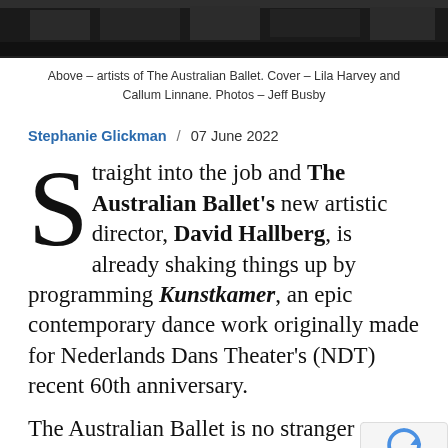[Figure (photo): Black and white photo strip showing artists of The Australian Ballet, partially cropped at top of page]
Above – artists of The Australian Ballet. Cover – Lila Harvey and Callum Linnane. Photos – Jeff Busby
Stephanie Glickman / 07 June 2022
Straight into the job and The Australian Ballet's new artistic director, David Hallberg, is already shaking things up by programming Kunstkamer, an epic contemporary dance work originally made for Nederlands Dans Theater's (NDT) recent 60th anniversary.
The Australian Ballet is no stranger to modern works – their repertoire is full of